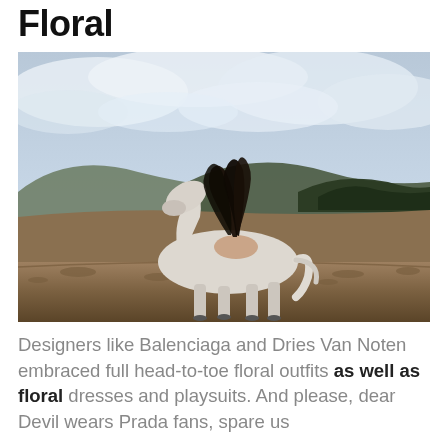Floral
[Figure (photo): A white horse grazing in an open field with dry grass and mountains in the background under a cloudy sky. A person with long dark hair is draped over the horse's back, hair flying upward.]
Designers like Balenciaga and Dries Van Noten embraced full head-to-toe floral outfits as well as floral dresses and playsuits. And please, dear Devil wears Prada fans, spare us